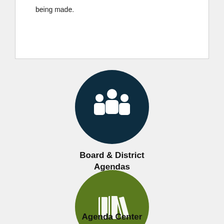being made.
[Figure (illustration): Dark navy circle with white icon of three people (group/board icon)]
Board & District Agendas
[Figure (illustration): Green circle with white icon of books/binders (agenda center icon)]
Agenda Center